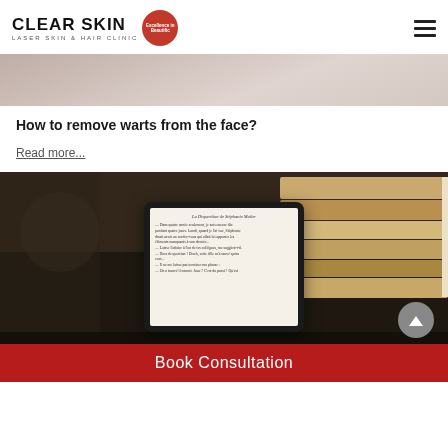CLEAR SKIN LASER SKIN & HAIR CLINIC
[Figure (photo): Blurred background image showing a wooden/pink surface or wall]
How to remove warts from the face?
Read more...
[Figure (photo): Photo of stacked books and an e-reader/tablet showing a page of French text]
Book Consultation